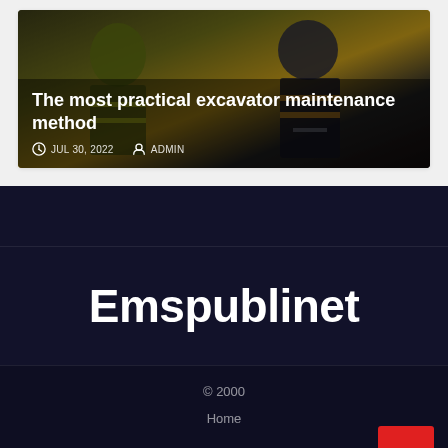[Figure (photo): Two workers in high-visibility safety vests working on excavator equipment, dark industrial background]
The most practical excavator maintenance method
JUL 30, 2022  ADMIN
Emspublinet
© 2000
Home